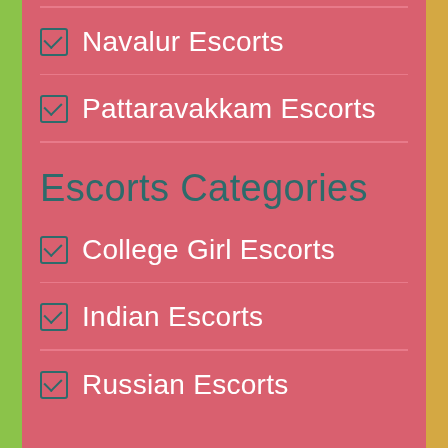Navalur Escorts
Pattaravakkam Escorts
Escorts Categories
College Girl Escorts
Indian Escorts
Russian Escorts